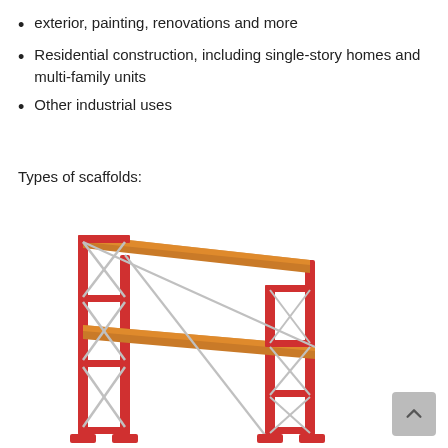exterior, painting, renovations and more
Residential construction, including single-story homes and multi-family units
Other industrial uses
Types of scaffolds:
[Figure (illustration): 3D illustration of a red metal scaffold structure with orange/wood-colored horizontal planks and diagonal cross-bracing, showing a two-bay scaffold frame.]